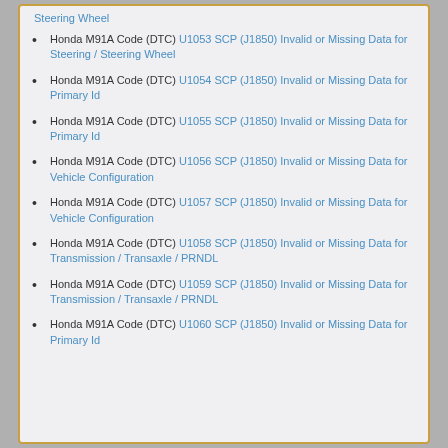Steering Wheel (link at top)
Honda M91A Code (DTC) U1053 SCP (J1850) Invalid or Missing Data for Steering / Steering Wheel
Honda M91A Code (DTC) U1054 SCP (J1850) Invalid or Missing Data for Primary Id
Honda M91A Code (DTC) U1055 SCP (J1850) Invalid or Missing Data for Primary Id
Honda M91A Code (DTC) U1056 SCP (J1850) Invalid or Missing Data for Vehicle Configuration
Honda M91A Code (DTC) U1057 SCP (J1850) Invalid or Missing Data for Vehicle Configuration
Honda M91A Code (DTC) U1058 SCP (J1850) Invalid or Missing Data for Transmission / Transaxle / PRNDL
Honda M91A Code (DTC) U1059 SCP (J1850) Invalid or Missing Data for Transmission / Transaxle / PRNDL
Honda M91A Code (DTC) U1060 SCP (J1850) Invalid or Missing Data for Primary Id